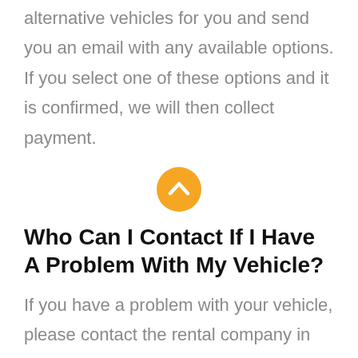alternative vehicles for you and send you an email with any available options. If you select one of these options and it is confirmed, we will then collect payment.
[Figure (illustration): Orange/yellow circle with a white upward-pointing chevron arrow icon in the center.]
Who Can I Contact If I Have A Problem With My Vehicle?
If you have a problem with your vehicle, please contact the rental company in the first instance as they will be able to assist...